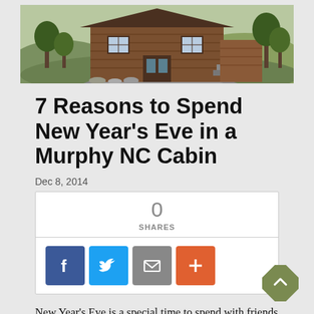[Figure (photo): Exterior photo of a wooden log cabin with a driveway, trees, and hills in background]
7 Reasons to Spend New Year's Eve in a Murphy NC Cabin
Dec 8, 2014
0 SHARES
[Figure (infographic): Social share buttons: Facebook, Twitter, Email, and More (+)]
New Year's Eve is a special time to spend with friends and family, and there is no better place to celebrate than a Murphy NC cabin! Here are 7 reasons to ring in